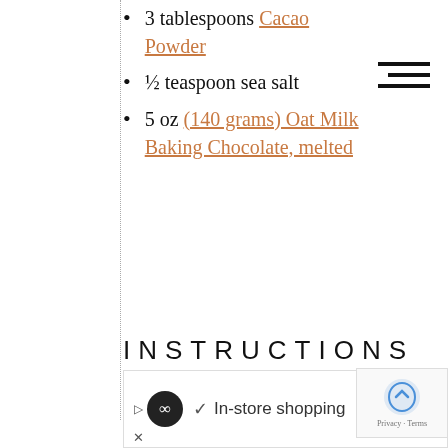3 tablespoons Cacao Powder
½ teaspoon sea salt
5 oz (140 grams) Oat Milk Baking Chocolate, melted
INSTRUCTIONS
[Figure (other): Advertisement banner: In-store shopping with loop icon and navigation icon]
[Figure (other): reCAPTCHA widget with Privacy and Terms text]